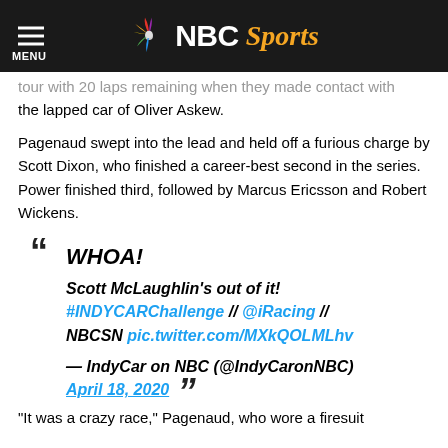NBC Sports
tour with 20 laps remaining when they made contact with the lapped car of Oliver Askew.
Pagenaud swept into the lead and held off a furious charge by Scott Dixon, who finished a career-best second in the series. Power finished third, followed by Marcus Ericsson and Robert Wickens.
“ WHOA! Scott McLaughlin's out of it! #INDYCARChallenge // @iRacing // NBCSN pic.twitter.com/MXkQOLMLhv — IndyCar on NBC (@IndyCaronNBC) April 18, 2020 ”
“It was a crazy race,” Pagenaud, who wore a firesuit